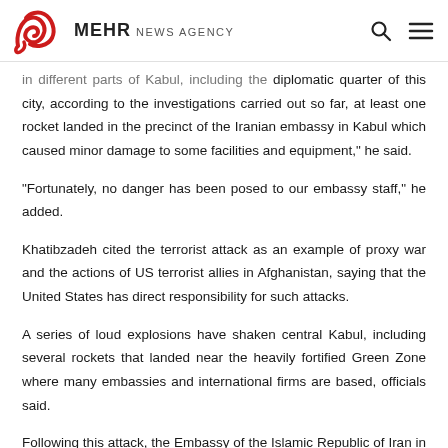MEHR NEWS AGENCY
...in different parts of Kabul, including the diplomatic quarter of this city, according to the investigations carried out so far, at least one rocket landed in the precinct of the Iranian embassy in Kabul which caused minor damage to some facilities and equipment," he said.
"Fortunately, no danger has been posed to our embassy staff," he added.
Khatibzadeh cited the terrorist attack as an example of proxy war and the actions of US terrorist allies in Afghanistan, saying that the United States has direct responsibility for such attacks.
A series of loud explosions have shaken central Kabul, including several rockets that landed near the heavily fortified Green Zone where many embassies and international firms are based, officials said.
Following this attack, the Embassy of the Islamic Republic of Iran in Kabul informed that a rocket landed in the precinct of the embassy, adding that the ambassador did not comment on this and all the responsibility for...